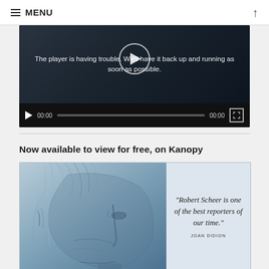MENU
[Figure (screenshot): Video player showing error message: 'The player is having trouble. We'll have it back up and running as soon as possible.' with play controls showing 00:00 timestamps.]
Now available to view for free, on Kanopy
[Figure (illustration): Illustrated portrait of Robert Scheer in blue-grey tones with quote: "Robert Scheer is one of the best reporters of our time." attributed to JOAN DIDION]